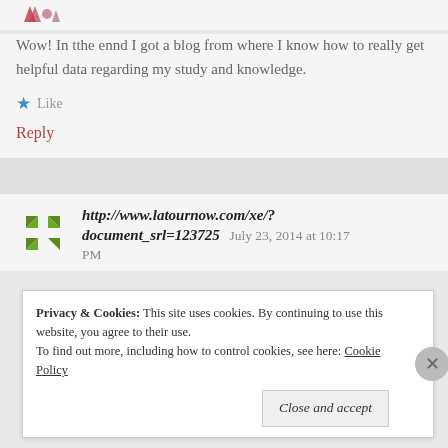[Figure (logo): Small decorative icon with red/pink arrows at top]
Wow! In tthe ennd I got a blog from where I know how to really get helpful data regarding my study and knowledge.
★ Like
Reply
[Figure (logo): Green recycling-style square avatar icon]
http://www.latournow.com/xe/?document_srl=123725   July 23, 2014 at 10:17 PM
Privacy & Cookies:  This site uses cookies. By continuing to use this website, you agree to their use.
To find out more, including how to control cookies, see here: Cookie Policy
Close and accept